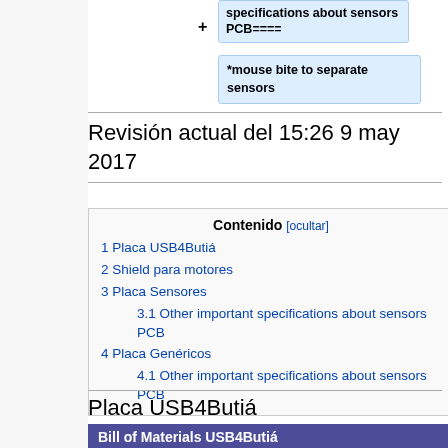[Figure (flowchart): Flowchart nodes showing wiki markup items: 'specifications about sensors PCB====' and '*mouse bite to separate sensors', with plus signs indicating connections]
Revisión actual del 15:26 9 may 2017
Contenido [ocultar]
1 Placa USB4Butiá
2 Shield para motores
3 Placa Sensores
3.1 Other important specifications about sensors PCB
4 Placa Genéricos
4.1 Other important specifications about sensors PCB
Placa USB4Butiá
| Bill of Materials USB4Butiá |
| --- |